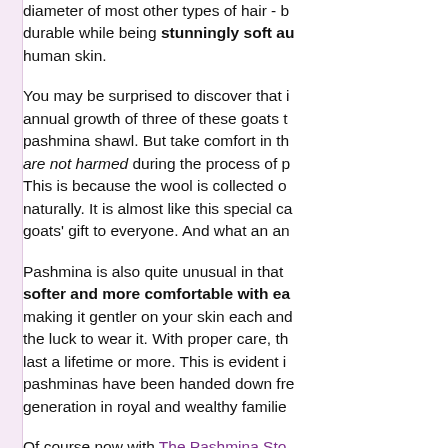diameter of most other types of hair - b durable while being stunningly soft au human skin.

You may be surprised to discover that annual growth of three of these goats t pashmina shawl. But take comfort in th are not harmed during the process of p This is because the wool is collected o naturally. It is almost like this special ca goats' gift to everyone. And what an an

Pashmina is also quite unusual in that softer and more comfortable with ea making it gentler on your skin each and the luck to wear it. With proper care, th last a lifetime or more. This is evident i pashminas have been handed down fre generation in royal and wealthy familie

Of course now with The Pashmina Sto royalty to enjoy a pashmina of your ve effort to qualify the authenticity of each every batch and asking all providers to us the authentic items we order. In the